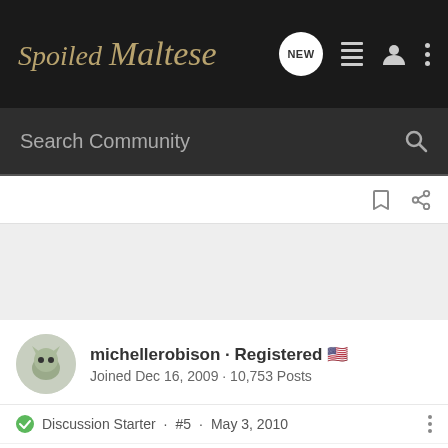[Figure (logo): Spoiled Maltese logo in italic gold script font on dark background]
Search Community
michellerobison · Registered
Joined Dec 16, 2009 · 10,753 Posts
Discussion Starter · #5 · May 3, 2010
Miss_Annie said:
Those are absolutely gorgeous!! You are amazing! I can't believe you make these! Wow...